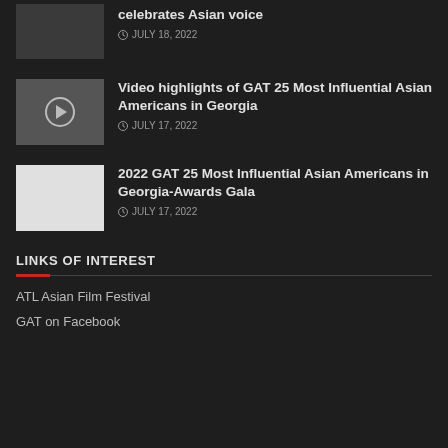celebrates Asian voice — JULY 18, 2022
Video highlights of GAT 25 Most Influential Asian Americans in Georgia — JULY 17, 2022
2022 GAT 25 Most Influential Asian Americans in Georgia-Awards Gala — JULY 17, 2022
LINKS OF INTEREST
ATL Asian Film Festival
GAT on Facebook